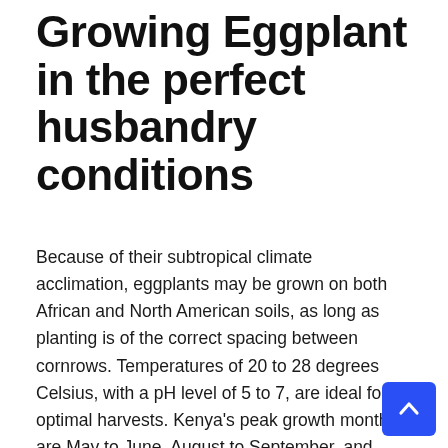Growing Eggplant in the perfect husbandry conditions
Because of their subtropical climate acclimation, eggplants may be grown on both African and North American soils, as long as planting is of the correct spacing between cornrows. Temperatures of 20 to 28 degrees Celsius, with a pH level of 5 to 7, are ideal for optimal harvests. Kenya's peak growth months are May to June, August to September, and December to January.